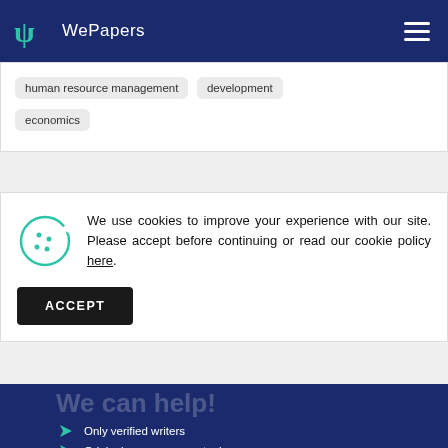WePapers
human resource management
development
economics
We use cookies to improve your experience with our site. Please accept before continuing or read our cookie policy here.
ACCEPT
We can help!
Only verified writers
Original papers on any topic